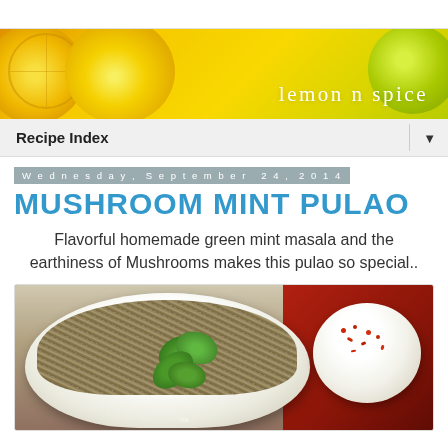[Figure (photo): Header banner with lemon halves on yellow background with text 'lemon n spice']
Recipe Index
Wednesday, September 24, 2014
MUSHROOM MINT PULAO
Flavorful homemade green mint masala and the earthiness of Mushrooms makes this pulao so special..
[Figure (photo): Food photo showing a white bowl of mushroom mint pulao rice garnished with fresh mint leaves, with a small white bowl of raita with red chili powder on the right, set against a red background]